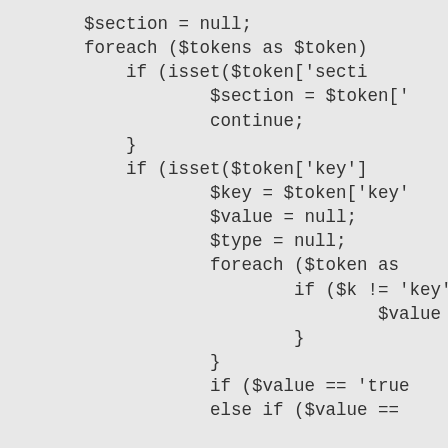$section = null;
foreach ($tokens as $token)
    if (isset($token['secti
            $section = $token['
            continue;
    }
    if (isset($token['key']
            $key = $token['key'
            $value = null;
            $type = null;
            foreach ($token as
                    if ($k != 'key'
                            $value = $v
                    }
            }
            if ($value == 'true
            else if ($value ==

            #if ($value && defi
            if (substr($key, st